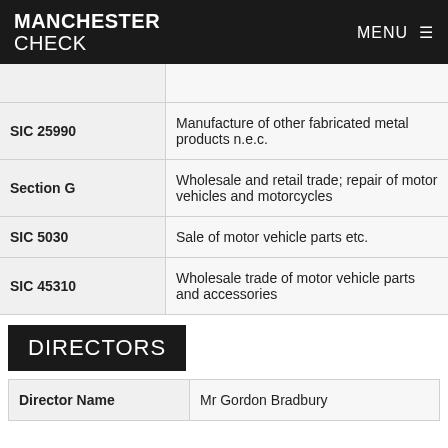MANCHESTER CHECK   MENU ≡
| SIC 25990 | Manufacture of other fabricated metal products n.e.c. |
| Section G | Wholesale and retail trade; repair of motor vehicles and motorcycles |
| SIC 5030 | Sale of motor vehicle parts etc. |
| SIC 45310 | Wholesale trade of motor vehicle parts and accessories |
DIRECTORS
| Director Name | Mr Gordon Bradbury |
| --- | --- |